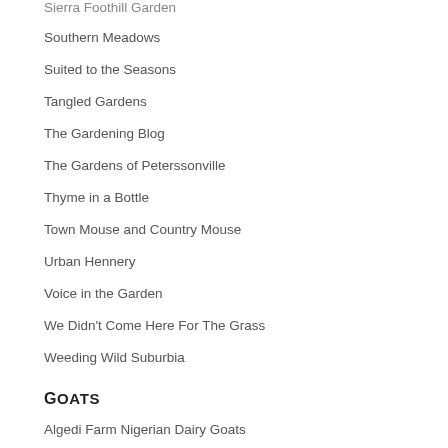Sierra Foothill Garden
Southern Meadows
Suited to the Seasons
Tangled Gardens
The Gardening Blog
The Gardens of Peterssonville
Thyme in a Bottle
Town Mouse and Country Mouse
Urban Hennery
Voice in the Garden
We Didn't Come Here For The Grass
Weeding Wild Suburbia
Goats
Algedi Farm Nigerian Dairy Goats
Camomele Petite Paradise Nigerian Dairy Goats